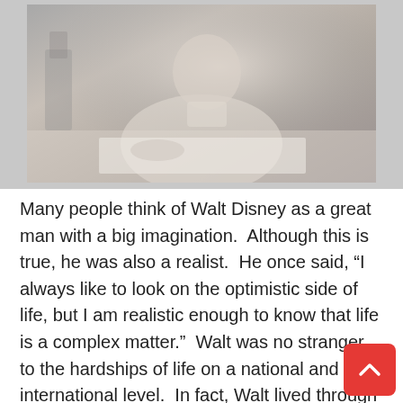[Figure (photo): Black and white photograph of Walt Disney sitting at a desk writing, wearing a turtleneck sweater, with papers on the desk in front of him.]
Many people think of Walt Disney as a great man with a big imagination.  Although this is true, he was also a realist.  He once said, “I always like to look on the optimistic side of life, but I am realistic enough to know that life is a complex matter.”  Walt was no stranger to the hardships of life on a national and international level.  In fact, Walt lived through two global pandemics – – the Spanish Flu in 1918 which claimed the lives of million people worldwide, and the Asian Flu in 1957 which claimed about 1.1 million souls.  He lived through